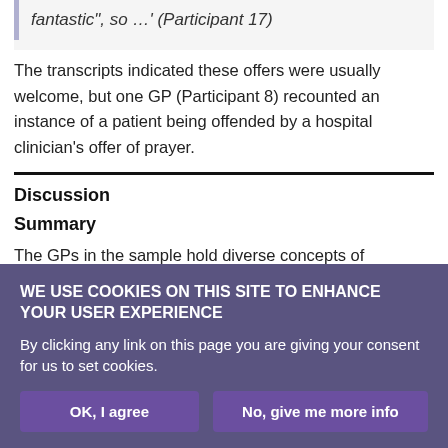fantastic", so …' (Participant 17)
The transcripts indicated these offers were usually welcome, but one GP (Participant 8) recounted an instance of a patient being offended by a hospital clinician's offer of prayer.
Discussion
Summary
The GPs in the sample hold diverse concepts of spirituality, some having no concept at all, and the spiritual care they offer to patients
WE USE COOKIES ON THIS SITE TO ENHANCE YOUR USER EXPERIENCE
By clicking any link on this page you are giving your consent for us to set cookies.